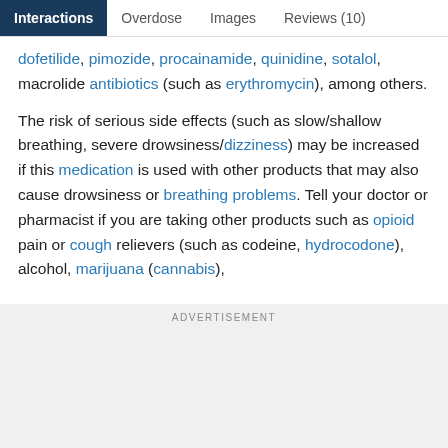Interactions | Overdose | Images | Reviews (10)
dofetilide, pimozide, procainamide, quinidine, sotalol, macrolide antibiotics (such as erythromycin), among others.
The risk of serious side effects (such as slow/shallow breathing, severe drowsiness/dizziness) may be increased if this medication is used with other products that may also cause drowsiness or breathing problems. Tell your doctor or pharmacist if you are taking other products such as opioid pain or cough relievers (such as codeine, hydrocodone), alcohol, marijuana (cannabis),
ADVERTISEMENT